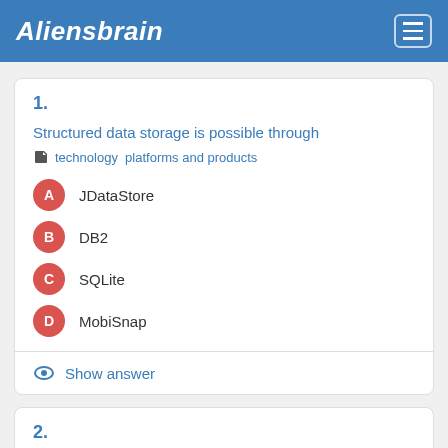Aliensbrain
1.
Structured data storage is possible through
technology  platforms and products
A  JDataStore
B  DB2
C  SQLite
D  MobiSnap
Show answer
2.
What are the different wireless data